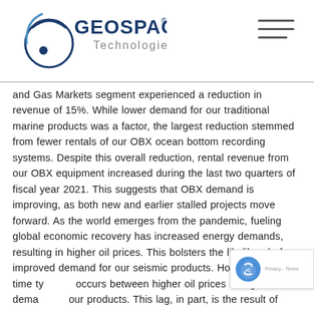Geospace Technologies logo and navigation
and Gas Markets segment experienced a reduction in revenue of 15%. While lower demand for our traditional marine products was a factor, the largest reduction stemmed from fewer rentals of our OBX ocean bottom recording systems. Despite this overall reduction, rental revenue from our OBX equipment increased during the last two quarters of fiscal year 2021. This suggests that OBX demand is improving, as both new and earlier stalled projects move forward. As the world emerges from the pandemic, fueling global economic recovery has increased energy demands, resulting in higher oil prices. This bolsters the likelihood of improved demand for our seismic products. However, a lag in time typically occurs between higher oil prices and greater demand for our products. This lag, in part, is the result of